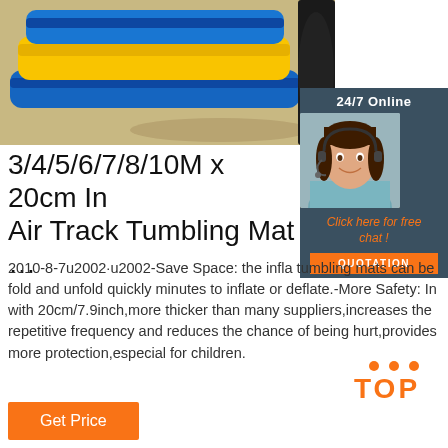[Figure (photo): Photo of inflatable air track tumbling mats in yellow and blue stacked on sandy ground]
[Figure (photo): Customer service chat widget with woman wearing headset, '24/7 Online' label, 'Click here for free chat!' link, and QUOTATION button]
3/4/5/6/7/8/10M x 20cm In Air Track Tumbling Mat ...
2010-8-7u2002·u2002-Save Space: the infla tumbling mats can be fold and unfold quickly minutes to inflate or deflate.-More Safety: In with 20cm/7.9inch,more thicker than many suppliers,increases the repetitive frequency and reduces the chance of being hurt,provides more protection,especial for children.
[Figure (logo): TOP badge with orange dots above orange TOP text]
Get Price